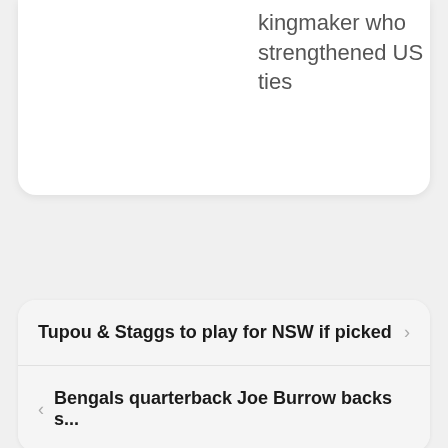kingmaker who strengthened US ties
Tupou & Staggs to play for NSW if picked
Bengals quarterback Joe Burrow backs s...